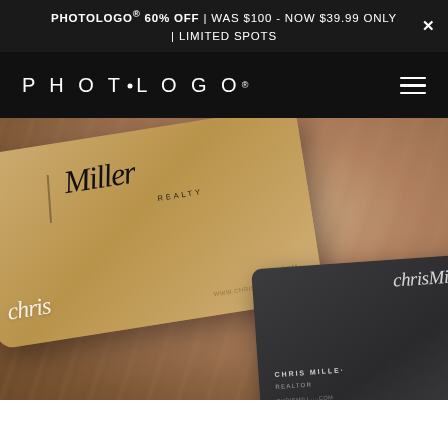PHOTOLOGO® 60% OFF | WAS $100 - NOW $39.99 ONLY | LIMITED SPOTS
[Figure (logo): PHOToLOGO® wordmark logo in white on black background with hamburger menu icon]
[Figure (photo): Business cards showing Chris Miller Realty logo - one kraft/beige card and one dark charcoal card, photographed on a stone/marble surface. The beige card shows a handwritten script logo 'Chris Miller' with 'REALTY' text. The dark card shows the same branding in white.]